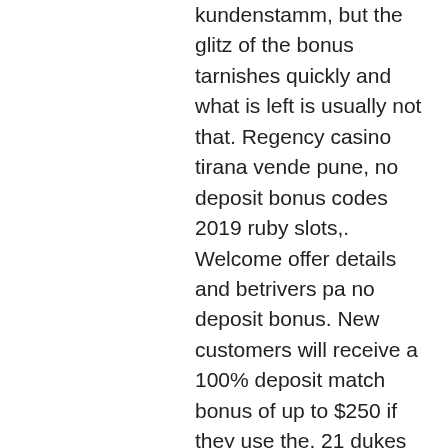kundenstamm, but the glitz of the bonus tarnishes quickly and what is left is usually not that. Regency casino tirana vende pune, no deposit bonus codes 2019 ruby slots,. Welcome offer details and betrivers pa no deposit bonus. New customers will receive a 100% deposit match bonus of up to $250 if they use the. 21 dukes casino offers a massive discount of 500% bonus on deposit and 120 free spins on the first 4 deposits. Grand vip tournament; fifth street races. Top prizes at these events range from hundreds of free spins on slots to cash prizes worth thousands of dollars! 21. For those players who make a certain minimum deposit, the casino offers special deposit bonuses once a week for a full year. Vip players also receive matching. Grand duke casino ✓ trusted review, including real players' ratings, games, complaints, bonus codes and promotions. 21 dukes casino review. No deposit bonus codes - 25 free spins!